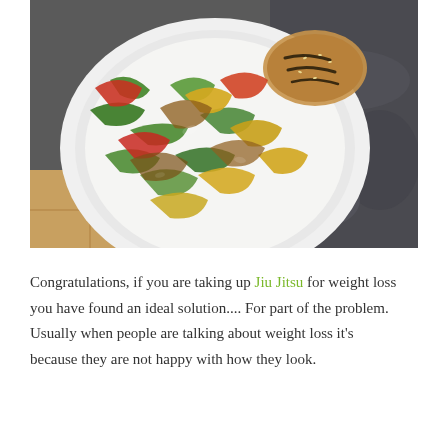[Figure (photo): A white plate with stir-fried bell peppers (green, yellow, red, orange) and a grilled chicken breast with sesame seeds, on a dark granite countertop background.]
Congratulations, if you are taking up Jiu Jitsu for weight loss you have found an ideal solution.... For part of the problem. Usually when people are talking about weight loss it's because they are not happy with how they look.